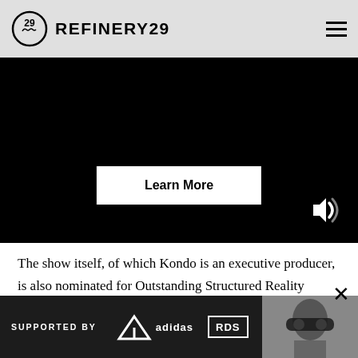REFINERY29
[Figure (screenshot): Black video player area with a 'Learn More' button overlay and a speaker/volume icon in the bottom right]
The show itself, of which Kondo is an executive producer, is also nominated for Outstanding Structured Reality Program. It's up against Antiques Roadshow, Diners, Drive-Ins and Dives, Queer Eye, Shark Tank, and Who Do You Think You Are? Regardless of whether it wins, we can't imagine life for season to
[Figure (infographic): Ad banner overlay: 'SUPPORTED BY' with Adidas and RDS logos and a person wearing ski goggles]